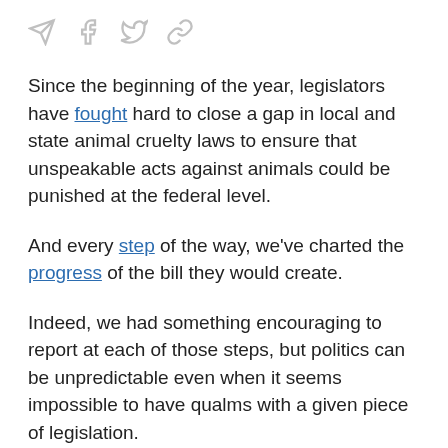[social share icons: send, facebook, twitter, link]
Since the beginning of the year, legislators have fought hard to close a gap in local and state animal cruelty laws to ensure that unspeakable acts against animals could be punished at the federal level.
And every step of the way, we've charted the progress of the bill they would create.
Indeed, we had something encouraging to report at each of those steps, but politics can be unpredictable even when it seems impossible to have qualms with a given piece of legislation.
However, this bill's long road through the